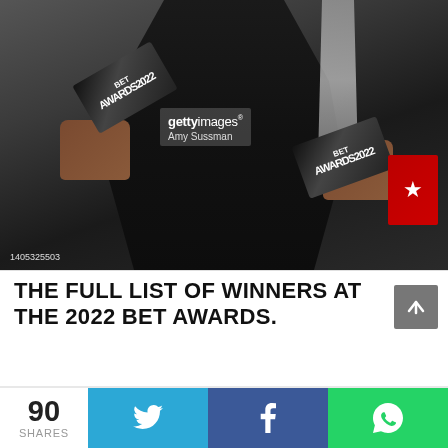[Figure (photo): A person in a black dress holding two BET Awards 2022 trophies, one in each hand. Getty Images watermark with photographer Amy Sussman visible. Photo ID 1405325503 in bottom left corner.]
THE FULL LIST OF WINNERS AT THE 2022 BET AWARDS.
90 SHARES
[Figure (infographic): Social share bar with Twitter (blue), Facebook (dark blue), and WhatsApp (green) buttons showing share icons]